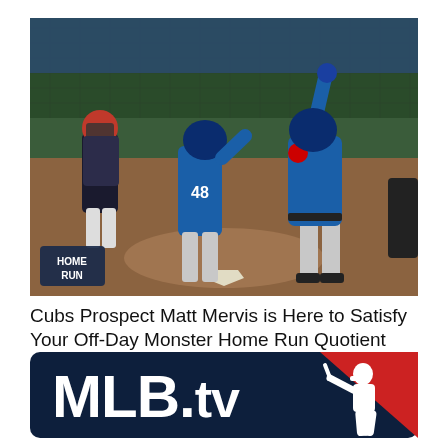[Figure (photo): Baseball game scene at home plate. A Chicago Cubs batter (wearing blue uniform) points skyward after hitting a home run. A Cubs player wearing #48 stands nearby. An opponent catcher in dark uniform stands to the left. A 'HOME RUN' sign is visible at lower left. The setting is an outdoor MLB stadium.]
Cubs Prospect Matt Mervis is Here to Satisfy Your Off-Day Monster Home Run Quotient
[Figure (logo): MLB.tv logo. Dark navy blue rounded rectangle background. Large bold white text reading 'MLB.tv' with a silhouette of a baseball batter in white on the right side, overlapping a red triangle in the upper right corner.]